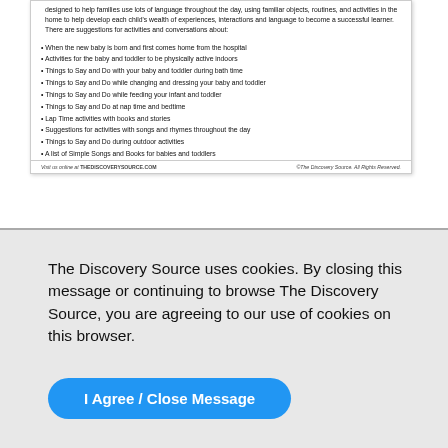designed to help families use lots of language throughout the day, using familiar objects, routines, and activities in the home to help develop each child's wealth of experiences, interactions and language to become a successful learner. There are suggestions for activities and conversations about:
When the new baby is born and first comes home from the hospital
Activities for the baby and toddler to be physically active indoors
Things to Say and Do with your baby and toddler during bath time
Things to Say and Do while changing and dressing your baby and toddler
Things to Say and Do while feeding your infant and toddler
Things to Say and Do at nap time and bedtime
Lap Time activities with books and stories
Suggestions for activities with songs and rhymes throughout the day
Things to Say and Do during outdoor activities
A list of Simple Songs and Books for babies and toddlers
Visit us online at THEDISCOVERYSOURCE.COM   ©The Discovery Source. All Rights Reserved.
The Discovery Source uses cookies. By closing this message or continuing to browse The Discovery Source, you are agreeing to our use of cookies on this browser.
I Agree / Close Message